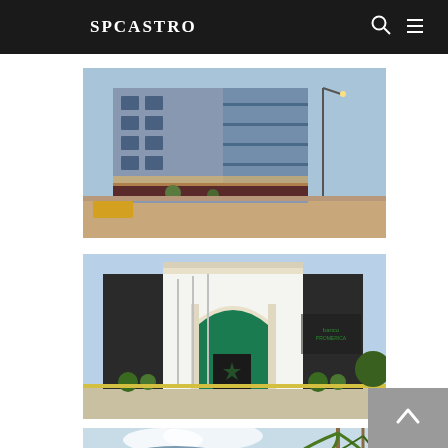SPCASTRO
[Figure (photo): Exterior photograph of a modern multi-story commercial building with blue-gray facade, glass windows, street-level shops, taken from street corner at dusk/evening.]
[Figure (photo): Exterior photograph of a formal white and black commercial building with large arched green glass entrance, flagpoles in front, and landscaped shrubs.]
[Figure (photo): Partial exterior photograph of another building with glass roof/canopy structure and palm trees visible on the right side.]